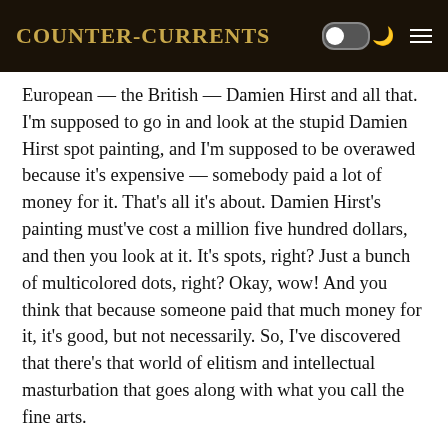Counter-Currents
European — the British — Damien Hirst and all that. I'm supposed to go in and look at the stupid Damien Hirst spot painting, and I'm supposed to be overawed because it's expensive — somebody paid a lot of money for it. That's all it's about. Damien Hirst's painting must've cost a million five hundred dollars, and then you look at it. It's spots, right? Just a bunch of multicolored dots, right? Okay, wow! And you think that because someone paid that much money for it, it's good, but not necessarily. So, I've discovered that there's that world of elitism and intellectual masturbation that goes along with what you call the fine arts.
And then there's the hobby crafts. And I've drifted from the fine arts into the hobby crafts when I wanted to learn what I wanted to do on china, you know, paint blue flowers on a